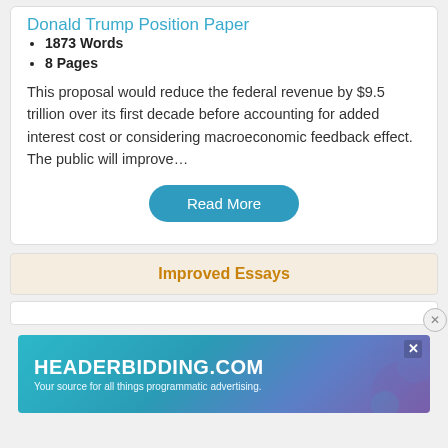Donald Trump Position Paper
1873 Words
8 Pages
This proposal would reduce the federal revenue by $9.5 trillion over its first decade before accounting for added interest cost or considering macroeconomic feedback effect. The public will improve…
Read More
Improved Essays
[Figure (other): Advertisement banner for HEADERBIDDING.COM with text 'Your source for all things programmatic advertising.']